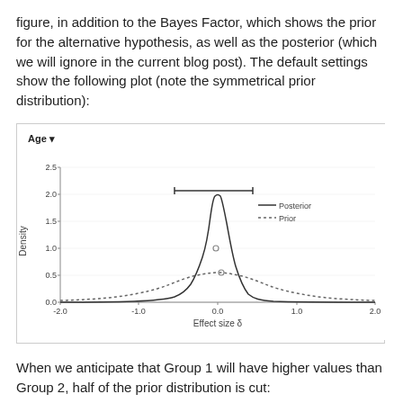figure, in addition to the Bayes Factor, which shows the prior for the alternative hypothesis, as well as the posterior (which we will ignore in the current blog post). The default settings show the following plot (note the symmetrical prior distribution):
[Figure (continuous-plot): A continuous plot showing a posterior distribution (solid curve, narrow Gaussian peaking near 0 at density ~1.9) and a prior distribution (dotted curve, broader Cauchy-like curve peaking near 0 at density ~0.5). A horizontal credible interval bar is shown above the posterior peak. A small circle marks a point on the posterior near (0, 1.0). X-axis ranges from -2.0 to 2.0, Y-axis from 0.0 to 2.5.]
When we anticipate that Group 1 will have higher values than Group 2, half of the prior distribution is cut: